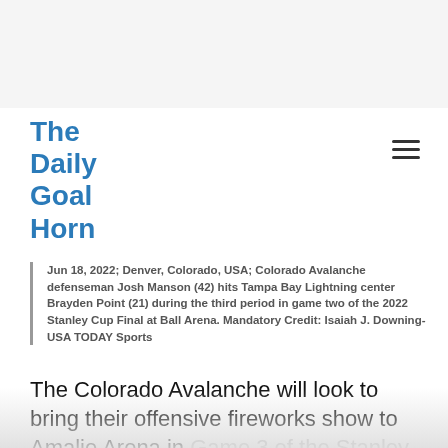The Daily Goal Horn
Jun 18, 2022; Denver, Colorado, USA; Colorado Avalanche defenseman Josh Manson (42) hits Tampa Bay Lightning center Brayden Point (21) during the third period in game two of the 2022 Stanley Cup Final at Ball Arena. Mandatory Credit: Isaiah J. Downing-USA TODAY Sports
The Colorado Avalanche will look to bring their offensive fireworks show to Amalie Arena in Game 3 of the Stanley Cup Final against the Tampa Bay Lightning.